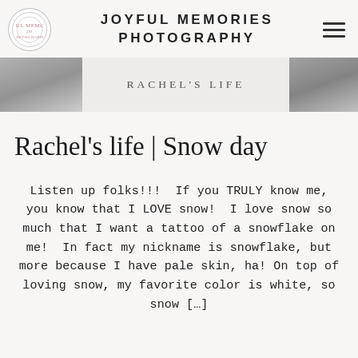JOYFUL MEMORIES PHOTOGRAPHY
[Figure (photo): Navigation banner with partial photos on left and right edges and 'RACHEL'S LIFE' text in center]
Rachel's life | Snow day
Listen up folks!!!  If you TRULY know me, you know that I LOVE snow!  I love snow so much that I want a tattoo of a snowflake on me!  In fact my nickname is snowflake, but more because I have pale skin, ha! On top of loving snow, my favorite color is white, so snow […]